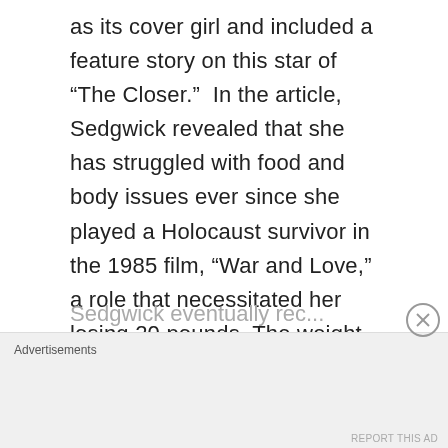as its cover girl and included a feature story on this star of “The Closer.”  In the article, Sedgwick revealed that she has struggled with food and body issues ever since she played a Holocaust survivor in the 1985 film, “War and Love,” a role that necessitated her losing 20 pounds. The weight loss set off a cycle of binge eating and yo-yo weight fluctuations that lasted for a number of years.
Advertisements